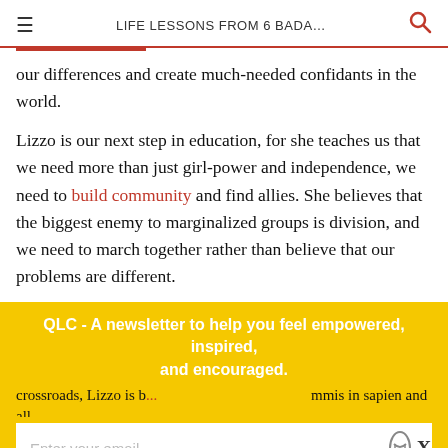LIFE LESSONS FROM 6 BADA...
our differences and create much-needed confidants in the world.
Lizzo is our next step in education, for she teaches us that we need more than just girl-power and independence, we need to build community and find allies. She believes that the biggest enemy to marginalized groups is division, and we need to march together rather than believe that our problems are different.
QLC - A newsletter to help you feel empowered, inspired, and encouraged.
crossroads, Lizzo is b... ...mmus in sapien and all w...
Enter your email